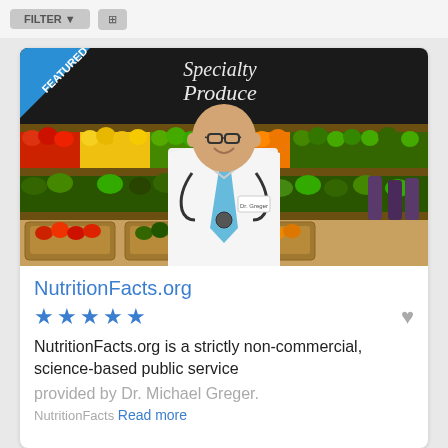[Figure (photo): Doctor in white lab coat with stethoscope smiling in front of colorful produce display in a grocery store. 'FEATURED' ribbon banner in top-left corner.]
NutritionFacts.org
[Figure (other): 5 blue star rating icons with a gray heart icon on the right]
NutritionFacts.org is a strictly non-commercial, science-based public service provided by Dr. Michael Greger.
NutritionFacts Read more